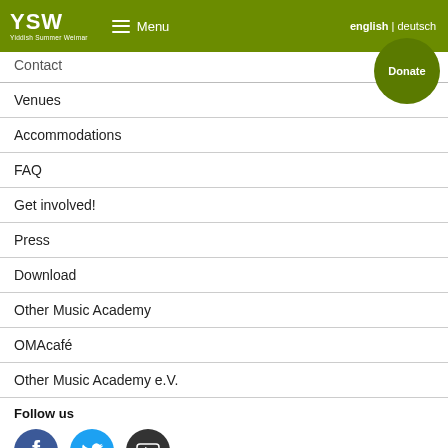YSW Yiddish Summer Weimar — Menu | english | deutsch | Donate
Contact
Venues
Accommodations
FAQ
Get involved!
Press
Download
Other Music Academy
OMAcafé
Other Music Academy e.V.
Follow us
[Figure (illustration): Social media icons: Facebook (blue circle with f), Twitter (light blue circle with bird), YouTube (dark circle with play button)]
YSW takes place in the framework of:
[Figure (logo): Weimarer Sommer logo with text and yellow/orange graphic]